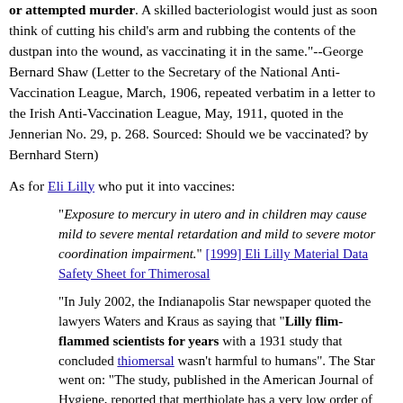or attempted murder. A skilled bacteriologist would just as soon think of cutting his child's arm and rubbing the contents of the dustpan into the wound, as vaccinating it in the same."--George Bernard Shaw (Letter to the Secretary of the National Anti-Vaccination League, March, 1906, repeated verbatim in a letter to the Irish Anti-Vaccination League, May, 1911, quoted in the Jennerian No. 29, p. 268. Sourced: Should we be vaccinated? by Bernhard Stern)
As for Eli Lilly who put it into vaccines:
"Exposure to mercury in utero and in children may cause mild to severe mental retardation and mild to severe motor coordination impairment." [1999] Eli Lilly Material Data Safety Sheet for Thimerosal
"In July 2002, the Indianapolis Star newspaper quoted the lawyers Waters and Kraus as saying that "Lilly flim-flammed scientists for years with a 1931 study that concluded thiomersal wasn't harmful to humans". The Star went on: "The study, published in the American Journal of Hygiene, reported that merthiolate has a very low order of toxicity......for man".  Digging further, Waters found out that the study's toxicity data came from experimental use of